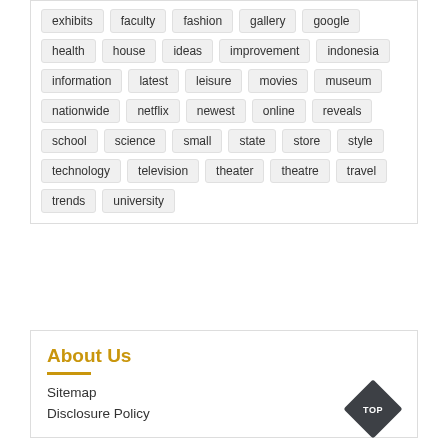exhibits
faculty
fashion
gallery
google
health
house
ideas
improvement
indonesia
information
latest
leisure
movies
museum
nationwide
netflix
newest
online
reveals
school
science
small
state
store
style
technology
television
theater
theatre
travel
trends
university
About Us
Sitemap
Disclosure Policy